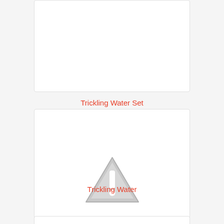[Figure (other): Partially visible white card/image placeholder at top of page]
Trickling Water Set
[Figure (other): White card with a grey warning triangle (exclamation mark) icon — placeholder for missing image]
Trickling Water
[Figure (other): Partially visible white card at bottom of page]